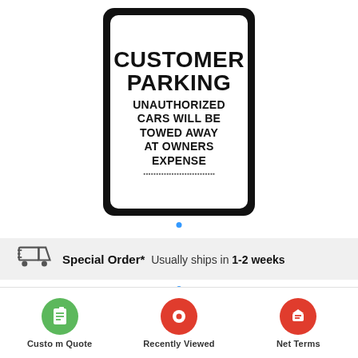[Figure (photo): Customer parking sign: white rectangular sign with black bold text reading 'CUSTOMER PARKING UNAUTHORIZED CARS WILL BE TOWED AWAY AT OWNERS EXPENSE', black border and rounded corners]
Special Order*  Usually ships in 1-2 weeks
Custom Quote
Recently Viewed
Net Terms